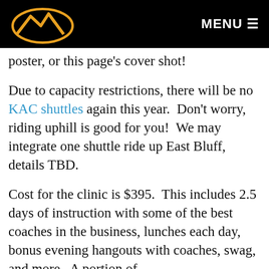MENU
poster, or this page's cover shot!
Due to capacity restrictions, there will be no KAC shuttles again this year.  Don't worry, riding uphill is good for you!  We may integrate one shuttle ride up East Bluff, details TBD.
Cost for the clinic is $395.  This includes 2.5 days of instruction with some of the best coaches in the business, lunches each day, bonus evening hangouts with coaches, swag, and more.  A portion of